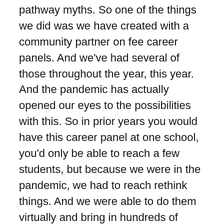pathway myths. So one of the things we did was we have created with a community partner on fee career panels. And we've had several of those throughout the year, this year. And the pandemic has actually opened our eyes to the possibilities with this. So in prior years you would have this career panel at one school, you'd only be able to reach a few students, but because we were in the pandemic, we had to reach rethink things. And we were able to do them virtually and bring in hundreds of students. So hundreds of students have been able to learn about careers in manufacturing and the arts in English in all kinds of areas that maybe they wouldn't have done before. So that's been an excellent opportunity for us.
Katie Lewis-Prieu (06:49): And if I can just add on if, if you are not aware of the careers that are out there, how can you possibly know that this is something that you want to explore? And I